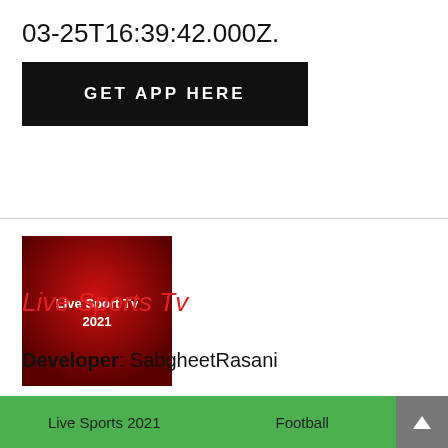03-25T16:39:42.000Z.
[Figure (screenshot): Black button with white uppercase text GET APP HERE]
[Figure (logo): Red square app icon with white text: Live Sport Tv 2021]
Live Sports Tv
Developer: SabgheetRasani
Live Sports 2021   Football